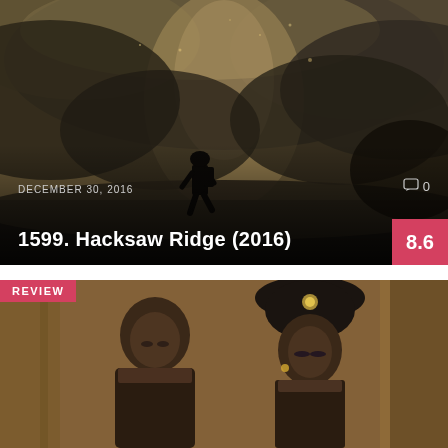[Figure (photo): War movie promotional image showing a soldier silhouetted against dramatic smoky battle sky for Hacksaw Ridge (2016)]
DECEMBER 30, 2016
0
1599. Hacksaw Ridge (2016)
8.6
[Figure (photo): Movie scene photo showing two actors (man and woman) in elaborate period costumes with ornate decorations, likely from Cleopatra or a similar historical epic. A 'REVIEW' badge is displayed in the top-left corner.]
REVIEW